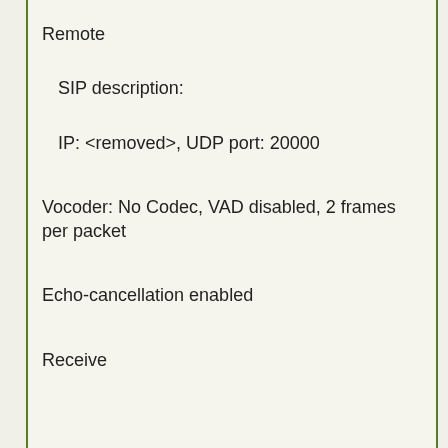Remote
SIP description:
IP: <removed>, UDP port: 20000
Vocoder: No Codec, VAD disabled, 2 frames per packet
Echo-cancellation enabled
Receive